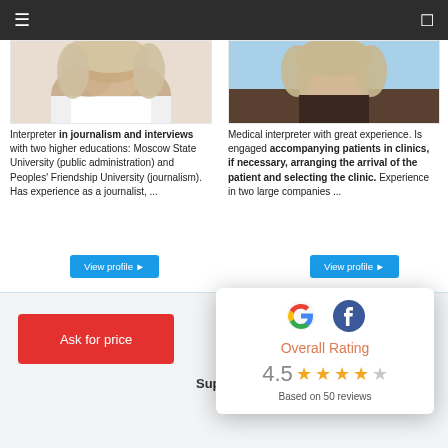≡  □
[Figure (photo): Photo of female interpreter - left card, cropped from shoulders up]
Interpreter in journalism and interviews with two higher educations: Moscow State University (public administration) and Peoples' Friendship University (journalism). Has experience as a journalist, ...
[Figure (photo): Photo of female medical interpreter - right card, cropped from shoulders up]
Medical interpreter with great experience. Is engaged accompanying patients in clinics, if necessary, arranging the arrival of the patient and selecting the clinic. Experience in two large companies ...
[Figure (infographic): Rating popup with Google and Facebook logos showing Overall Rating 4.5 stars based on 50 reviews]
Ask for price
Support